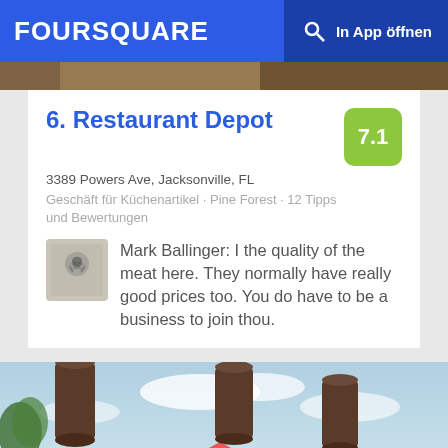FOURSQUARE  In App öffnen
[Figure (photo): Partial top image strip showing outdoor scene]
6. Restaurant Depot
3389 Powers Ave, Jacksonville, FL
Geschäft für Küchenartikel · Pine Forest · 12 Tipps und Bewertungen
Mark Ballinger: I the quality of the meat here. They normally have really good prices too. You do have to be a business to join thou.
[Figure (photo): Outdoor photo showing hanging cylindrical decorations, trees, sky and colorful mural rooftop]